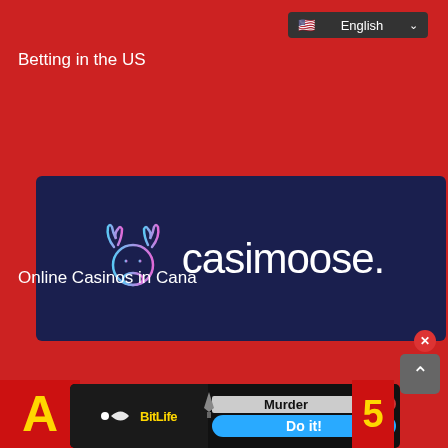Betting in the US
[Figure (logo): Casimoose logo on dark navy background with moose antler icon and text 'casimoose.']
Online Casinos in Canada
[Figure (screenshot): Video player overlay showing 'THIS DAY IN HISTORY' with play button, AUGUST label, muted audio icon and progress bar]
[Figure (logo): Casino.com logo with orange top-hat mascot and 'cas...' text on white background]
English casino sites
[Figure (screenshot): BitLife advertisement banner with 'Murder / Do it!' prompt and help/close icons]